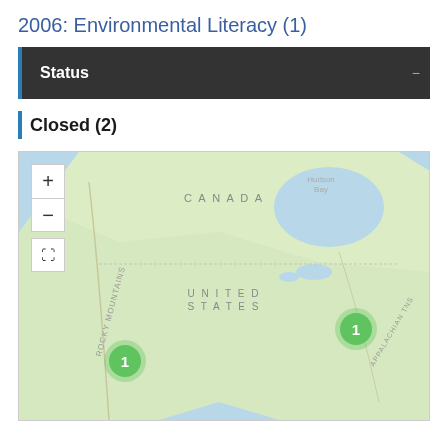2006: Environmental Literacy (1)
Status
Closed (2)
[Figure (map): Interactive map of North America showing two green cluster markers, each labeled '1'. One marker is located in the western United States and one in the eastern United States (Appalachian region). The map shows Canada, United States, Hudson Bay, Rocky Mountains, and Appalachian Mountains labels.]